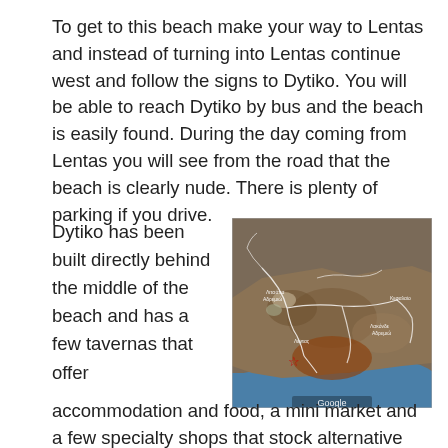To get to this beach make your way to Lentas and instead of turning into Lentas continue west and follow the signs to Dytiko. You will be able to reach Dytiko by bus and the beach is easily found. During the day coming from Lentas you will see from the road that the beach is clearly nude. There is plenty of parking if you drive.
Dytiko has been built directly behind the middle of the beach and has a few tavernas that offer
[Figure (map): Google satellite map showing the coastal area near Lentas and Dytiko beach, with a red star marker indicating the beach location, white road lines overlaid on satellite imagery showing terrain, sea (blue), and land (brown/tan). Google watermark visible at bottom.]
accommodation and food, a mini market and a few specialty shops that stock alternative and natural local products. From